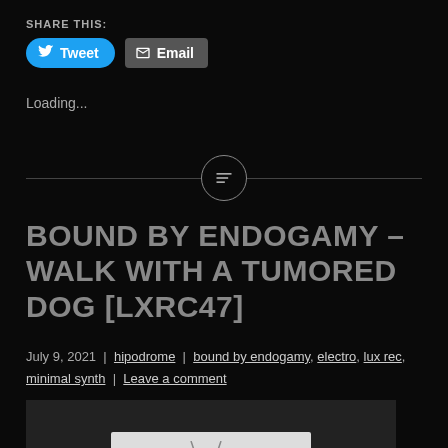SHARE THIS:
Tweet  Email
Loading...
[Figure (other): Horizontal divider with centered circle icon containing three lines (menu icon)]
BOUND BY ENDOGAMY – WALK WITH A TUMORED DOG [LXRC47]
July 9, 2021  |  hipodrome  |  bound by endogamy, electro, lux rec, minimal synth  |  Leave a comment
[Figure (photo): Partially visible album artwork or music release image on dark background, showing bottom portion of a light-colored rectangular image]